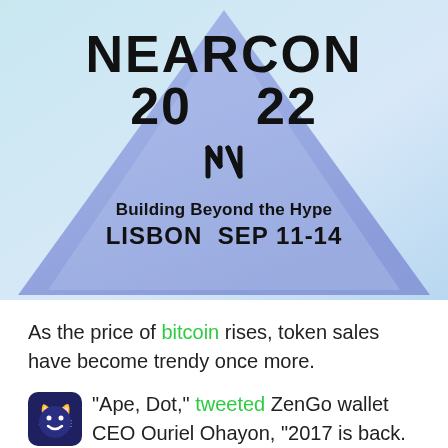[Figure (logo): NEARCON 2022 event banner with blue gradient background and triangle shape. Text: NEARCON 20 22, NEAR logo, Building Beyond the Hype, LISBON SEP 11-14]
As the price of bitcoin rises, token sales have become trendy once more.
“Ape, Dot,” tweeted ZenGo wallet CEO Ouriel Ohayon, “2017 is back. For better or worse.”